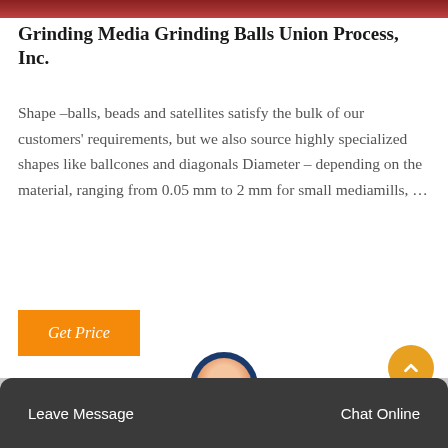[Figure (photo): Top banner image with dark red/maroon gradient]
Grinding Media Grinding Balls Union Process, Inc.
Shape –balls, beads and satellites satisfy the bulk of our customers' requirements, but we also source highly specialized shapes like ballcones and diagonals Diameter – depending on the material, ranging from 0.05 mm to 2 mm for small mediamills, …
[Figure (other): Orange 'Get Price' button]
[Figure (photo): Gray section with scroll-to-top orange button and customer service avatar with headset]
Leave Message   Chat Online